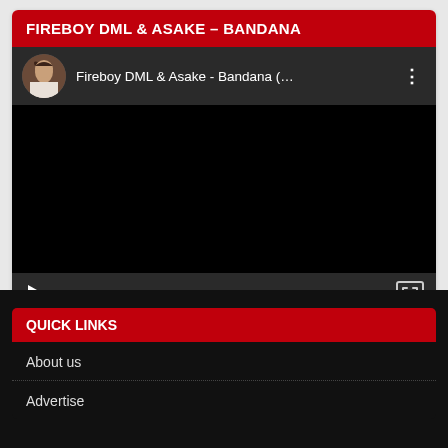FIREBOY DML & ASAKE – BANDANA
[Figure (screenshot): YouTube-style embedded video player showing 'Fireboy DML & Asake - Bandana (…' with a circular artist avatar thumbnail, black video area, and playback controls showing 00:00 / 03:02]
QUICK LINKS
About us
Advertise